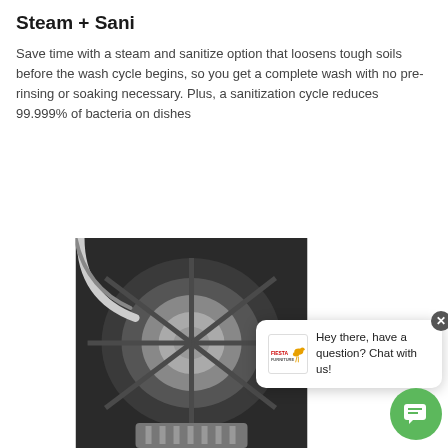Steam + Sani
Save time with a steam and sanitize option that loosens tough soils before the wash cycle begins, so you get a complete wash with no pre-rinsing or soaking necessary. Plus, a sanitization cycle reduces 99.999% of bacteria on dishes
[Figure (photo): Close-up black and white photo of a dishwasher interior component showing circular mechanical parts]
[Figure (infographic): Chat widget overlay with Fiesta Furniture logo and text: Hey there, have a question? Chat with us! with a green chat button]